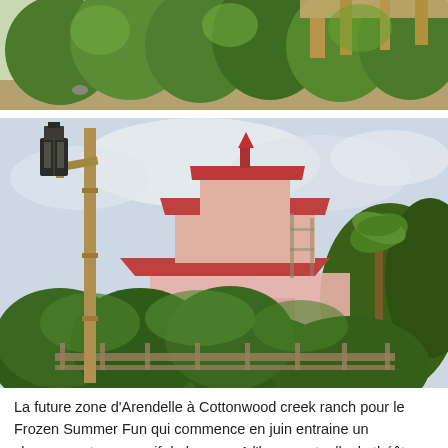[Figure (photo): Outdoor photo of lush green trees and vegetation, with wooden structures or fencing visible in the background. Appears to be a garden or park area.]
[Figure (photo): Outdoor photo of a theme park area showing a pink-roofed pagoda-style building (Cottonwood Creek Ranch area) surrounded by dense tropical greenery including palm trees, with a wooden lamp post in the foreground and cloudy sky above.]
La future zone d’Arendelle à Cottonwood creek ranch pour le Frozen Summer Fun qui commence en juin entraine un changement progressif de la zone. A l’heure actuelle, le théâtre n’a pas changé mais l’ensemble de la végétation offre un nouveau visage pour la zone. La ferme est toujours inaccessible derrière des